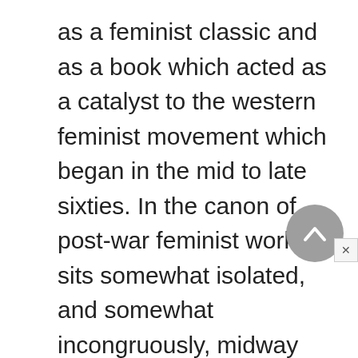as a feminist classic and as a book which acted as a catalyst to the western feminist movement which began in the mid to late sixties. In the canon of post-war feminist works it sits somewhat isolated, and somewhat incongruously, midway between The Second Sex and the outpouring of texts and tracts later on. But the striking gap between 1948—the date of de Beauvoir's book—and 1963 in fact fits well with one of Friedan's principal contentions. The arguments